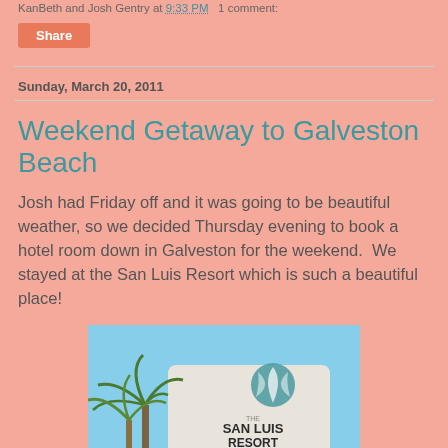KanBeth and Josh Gentry at 9:33 PM   1 comment:
[Figure (screenshot): Orange Share button]
Sunday, March 20, 2011
Weekend Getaway to Galveston Beach
Josh had Friday off and it was going to be beautiful weather, so we decided Thursday evening to book a hotel room down in Galveston for the weekend.  We stayed at the San Luis Resort which is such a beautiful place!
[Figure (photo): Photo of the San Luis Resort sign with palm trees in front and a blue sky. The sign reads: THE SAN LUIS RESORT, THE SAN LUIS HOTEL, GALVESTON ISLAND HILTON, LA QUINTA SEAFOOD HOUSE]
We got there on Friday afternoon and spent the afternoon...